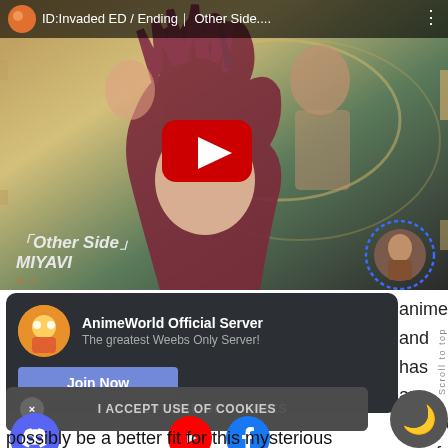[Figure (screenshot): YouTube video thumbnail for 'ID:Invaded ED / Ending - Other Side...' showing anime characters with spiky dark red hair, with a red YouTube play button overlay. Bottom left shows text 'Other Side' and 'MIYAVI'. A profile avatar with dashed blue circle is visible bottom right.]
[Figure (screenshot): Discord server widget with dark background showing AnimeWorld Official Server with icon, tagline 'The greatest Weebs Only Server!' and a 'Join Now' button in purple/indigo color.]
anime and has an 'Other cessful g coul
I ACCEPT USE OF COOKIES
possibly be a better fit for this mysterious